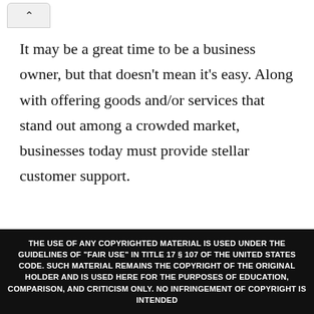It may be a great time to be a business owner, but that doesn't mean it's easy. Along with offering goods and/or services that stand out among a crowded market, businesses today must provide stellar customer support.
Technology and the convenience it provides poses challenges for small businesses when it comes to pleasing busy customers. In fact, 39 percent of customers now expect a response from a company's support team within four hours, and
THE USE OF ANY COPYRIGHTED MATERIAL IS USED UNDER THE GUIDELINES OF "FAIR USE" IN TITLE 17 § 107 OF THE UNITED STATES CODE. SUCH MATERIAL REMAINS THE COPYRIGHT OF THE ORIGINAL HOLDER AND IS USED HERE FOR THE PURPOSES OF EDUCATION, COMPARISON, AND CRITICISM ONLY. NO INFRINGEMENT OF COPYRIGHT IS INTENDED